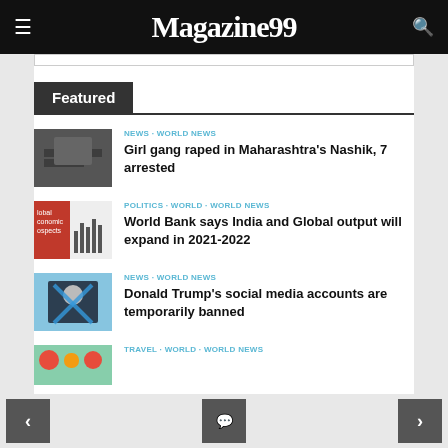Magazine99
Featured
NEWS · WORLD NEWS
Girl gang raped in Maharashtra's Nashik, 7 arrested
POLITICS · WORLD · WORLD NEWS
World Bank says India and Global output will expand in 2021-2022
NEWS · WORLD NEWS
Donald Trump's social media accounts are temporarily banned
TRAVEL · WORLD · WORLD NEWS